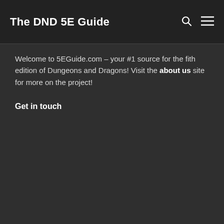The DND 5E Guide
Welcome to 5EGuide.com – your #1 source for the fith edition of Dungeons and Dragons! Visit the about us site for more on the project!
Get in touch